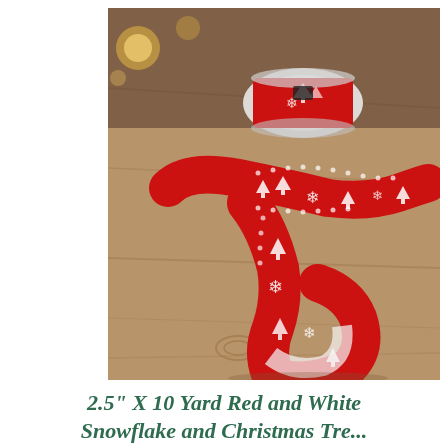[Figure (photo): A red ribbon with white Christmas tree and snowflake pattern, unrolled and curled on a wooden surface. A roll/spool of the ribbon is visible in the background. The ribbon is wired edge type. Background shows warm bokeh lights.]
2.5" X 10 Yard Red and White Snowflake and Christmas Tree...